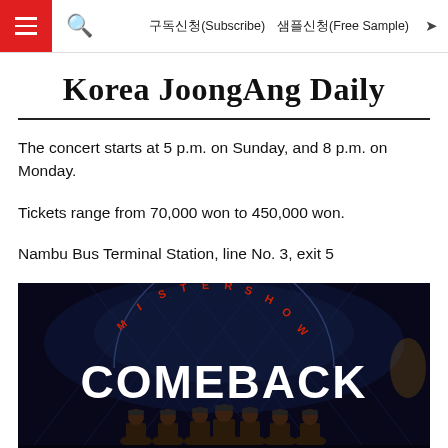Korea JoongAng Daily — 구독신청(Subscribe) 샘플신청(Free Sample)
Korea JoongAng Daily
The concert starts at 5 p.m. on Sunday, and 8 p.m. on Monday.
Tickets range from 70,000 won to 450,000 won.
Nambu Bus Terminal Station, line No. 3, exit 5
[Figure (photo): Stage show promotional image for 'Mister Show Comeback' featuring performers on a dark stage with the text COMEBACK in large white letters and MISTER SHOW in an arc above, with several male performers in the foreground wearing hats and sunglasses.]